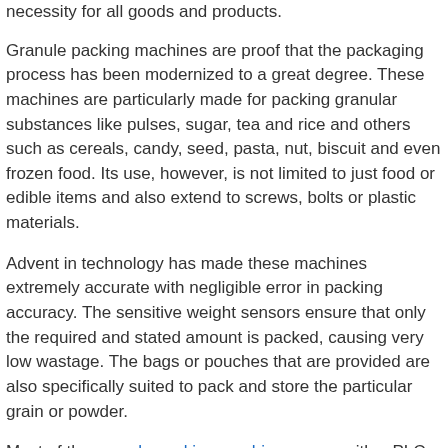necessity for all goods and products.
Granule packing machines are proof that the packaging process has been modernized to a great degree. These machines are particularly made for packing granular substances like pulses, sugar, tea and rice and others such as cereals, candy, seed, pasta, nut, biscuit and even frozen food. Its use, however, is not limited to just food or edible items and also extend to screws, bolts or plastic materials.
Advent in technology has made these machines extremely accurate with negligible error in packing accuracy. The sensitive weight sensors ensure that only the required and stated amount is packed, causing very low wastage. The bags or pouches that are provided are also specifically suited to pack and store the particular grain or powder.
Most of the granule packing machines come with a PLC.